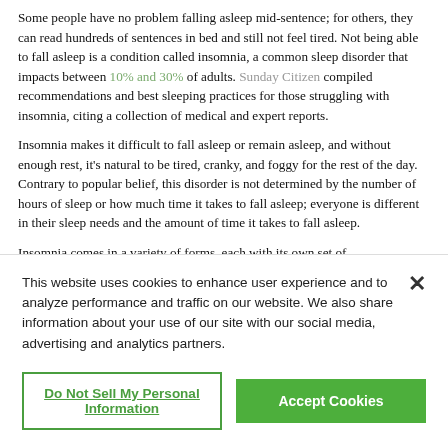Some people have no problem falling asleep mid-sentence; for others, they can read hundreds of sentences in bed and still not feel tired. Not being able to fall asleep is a condition called insomnia, a common sleep disorder that impacts between 10% and 30% of adults. Sunday Citizen compiled recommendations and best sleeping practices for those struggling with insomnia, citing a collection of medical and expert reports.
Insomnia makes it difficult to fall asleep or remain asleep, and without enough rest, it's natural to be tired, cranky, and foggy for the rest of the day. Contrary to popular belief, this disorder is not determined by the number of hours of sleep or how much time it takes to fall asleep; everyone is different in their sleep needs and the amount of time it takes to fall asleep.
Insomnia comes in a variety of forms, each with its own set of
This website uses cookies to enhance user experience and to analyze performance and traffic on our website. We also share information about your use of our site with our social media, advertising and analytics partners.
Do Not Sell My Personal Information
Accept Cookies